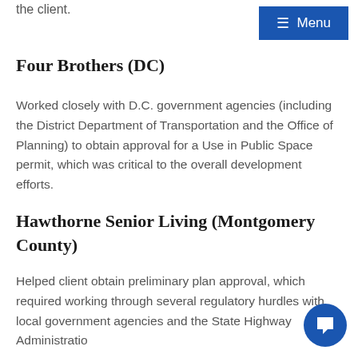the client.
[Figure (other): Blue navigation menu button with hamburger icon and 'Menu' text]
Four Brothers (DC)
Worked closely with D.C. government agencies (including the District Department of Transportation and the Office of Planning) to obtain approval for a Use in Public Space permit, which was critical to the overall development efforts.
Hawthorne Senior Living (Montgomery County)
Helped client obtain preliminary plan approval, which required working through several regulatory hurdles with local government agencies and the State Highway Administratio
Three Three Park (M…